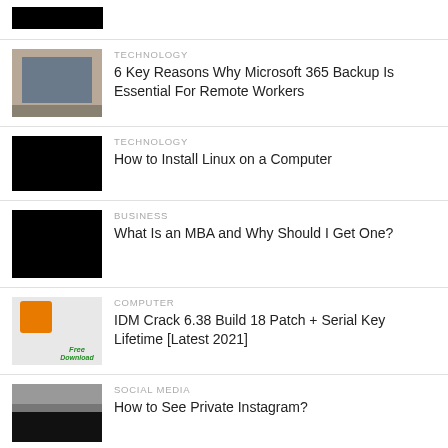[Figure (logo): Black rectangle logo placeholder in header]
[Figure (photo): Hands typing on a laptop keyboard]
TECHNOLOGY
6 Key Reasons Why Microsoft 365 Backup Is Essential For Remote Workers
[Figure (photo): Black placeholder image]
TECHNOLOGY
How to Install Linux on a Computer
[Figure (photo): Black placeholder image]
BUSINESS
What Is an MBA and Why Should I Get One?
[Figure (screenshot): IDM software Free Download icon]
COMPUTER
IDM Crack 6.38 Build 18 Patch + Serial Key Lifetime [Latest 2021]
[Figure (photo): Social media profile photo thumbnail]
SOCIAL MEDIA
How to See Private Instagram?